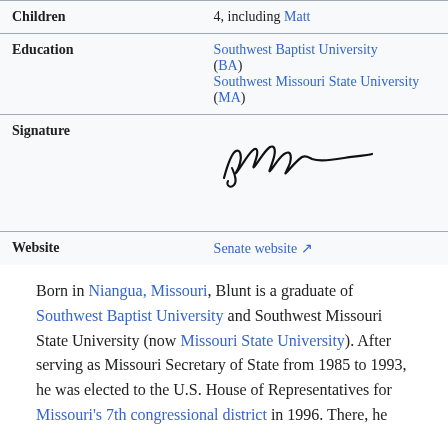| Field | Value |
| --- | --- |
| Children | 4, including Matt |
| Education | Southwest Baptist University (BA)
Southwest Missouri State University (MA) |
| Signature | [signature image] |
| Website | Senate website |
Born in Niangua, Missouri, Blunt is a graduate of Southwest Baptist University and Southwest Missouri State University (now Missouri State University). After serving as Missouri Secretary of State from 1985 to 1993, he was elected to the U.S. House of Representatives for Missouri's 7th congressional district in 1996. There, he